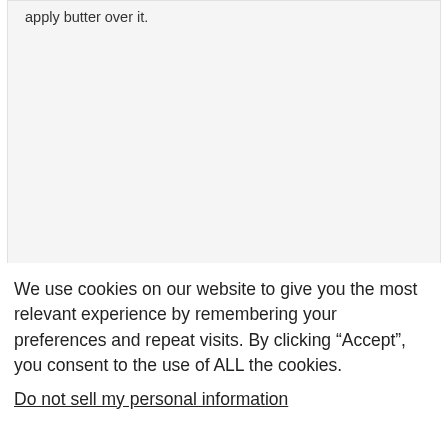apply butter over it.
We use cookies on our website to give you the most relevant experience by remembering your preferences and repeat visits. By clicking “Accept”, you consent to the use of ALL the cookies.
Do not sell my personal information.